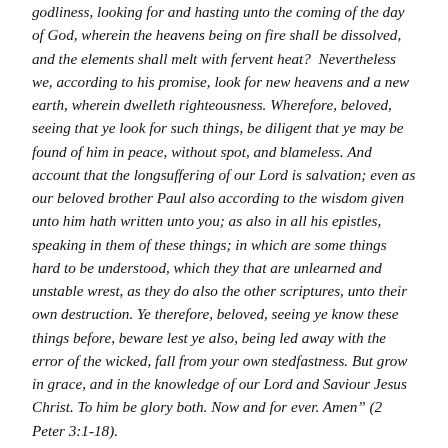godliness, looking for and hasting unto the coming of the day of God, wherein the heavens being on fire shall be dissolved, and the elements shall melt with fervent heat? Nevertheless we, according to his promise, look for new heavens and a new earth, wherein dwelleth righteousness. Wherefore, beloved, seeing that ye look for such things, be diligent that ye may be found of him in peace, without spot, and blameless. And account that the longsuffering of our Lord is salvation; even as our beloved brother Paul also according to the wisdom given unto him hath written unto you; as also in all his epistles, speaking in them of these things; in which are some things hard to be understood, which they that are unlearned and unstable wrest, as they do also the other scriptures, unto their own destruction. Ye therefore, beloved, seeing ye know these things before, beware lest ye also, being led away with the error of the wicked, fall from your own stedfastness. But grow in grace, and in the knowledge of our Lord and Saviour Jesus Christ. To him be glory both. Now and for ever. Amen" (2 Peter 3:1-18).